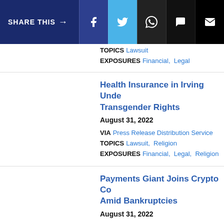SHARE THIS →
TOPICS Lawsuit
EXPOSURES Financial, Legal
Health Insurance in Irving Under Transgender Rights
August 31, 2022
VIA Press Release Distribution Service
TOPICS Lawsuit, Religion
EXPOSURES Financial, Legal, Religion
Payments Giant Joins Crypto Co… Amid Bankruptcies
August 31, 2022
VIA FinancialNewsMedia
TOPICS Bankruptcy
EXPOSURES Financial, Legal
TICKERS CME, COIN, PYPL, SQ
Car Accident Lawyer at Jason S…